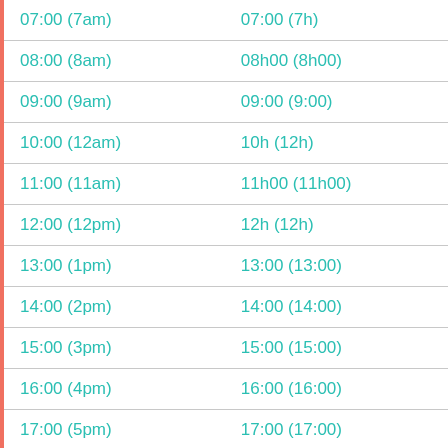| 12-hour format | 24-hour format |
| --- | --- |
| 07:00 (7am) | 07:00 (7h) |
| 08:00 (8am) | 08h00 (8h00) |
| 09:00 (9am) | 09:00 (9:00) |
| 10:00 (12am) | 10h (12h) |
| 11:00 (11am) | 11h00 (11h00) |
| 12:00 (12pm) | 12h (12h) |
| 13:00 (1pm) | 13:00 (13:00) |
| 14:00 (2pm) | 14:00 (14:00) |
| 15:00 (3pm) | 15:00 (15:00) |
| 16:00 (4pm) | 16:00 (16:00) |
| 17:00 (5pm) | 17:00 (17:00) |
| 18:00 (6pm) | 18:00 (18:00) |
| 19:00 (7pm) | 19:00 (19:00) |
| 20:00 (8pm)… | 20:00 (20:00)… |